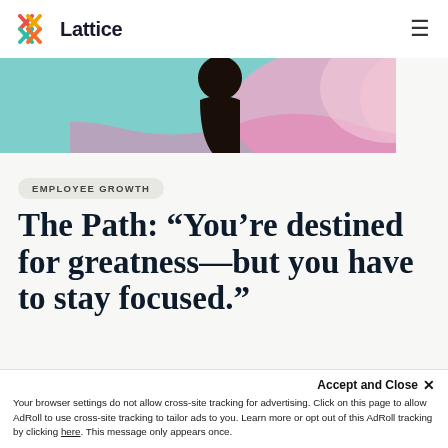Lattice
[Figure (photo): Hero banner image showing a person against a colorful teal and pink abstract background]
EMPLOYEE GROWTH
The Path: “You’re destined for greatness—but you have to stay focused.”
Your browser settings do not allow cross-site tracking for advertising. Click on this page to allow AdRoll to use cross-site tracking to tailor ads to you. Learn more or opt out of this AdRoll tracking by clicking here. This message only appears once.